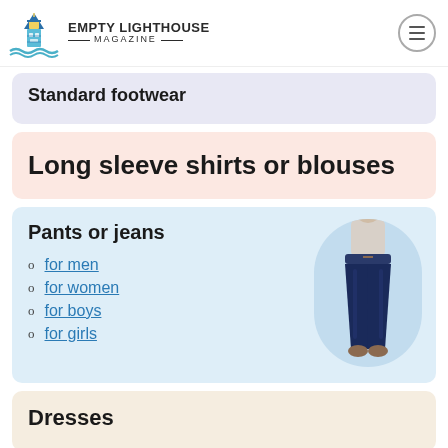Empty Lighthouse Magazine
Standard footwear
Long sleeve shirts or blouses
Pants or jeans
for men
for women
for boys
for girls
[Figure (photo): Woman wearing dark blue jeans and a light top]
Dresses